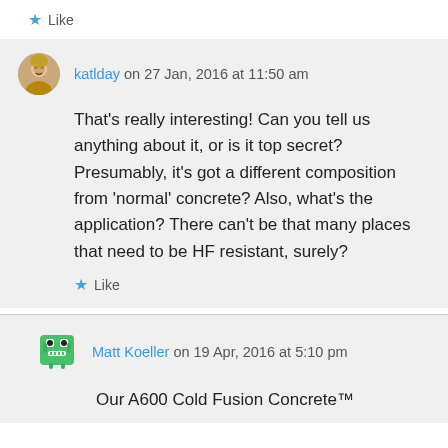★ Like
katlday on 27 Jan, 2016 at 11:50 am
That's really interesting! Can you tell us anything about it, or is it top secret? Presumably, it's got a different composition from 'normal' concrete? Also, what's the application? There can't be that many places that need to be HF resistant, surely?
★ Like
Matt Koeller on 19 Apr, 2016 at 5:10 pm
Our A600 Cold Fusion Concrete™